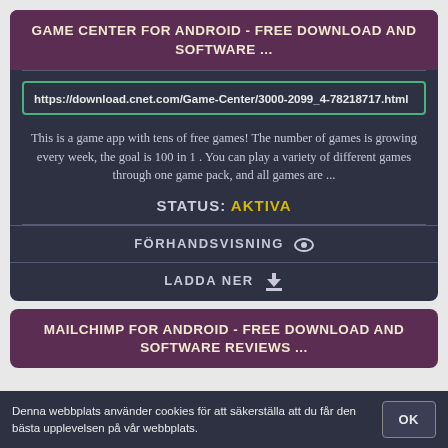GAME CENTER FOR ANDROID - FREE DOWNLOAD AND SOFTWARE ...
https://download.cnet.com/Game-Center/3000-2099_4-78218717.html
This is a game app with tens of free games! The number of games is growing every week, the goal is 100 in 1 . You can play a variety of different games through one game pack, and all games are ...
STATUS: AKTIVA
FÖRHANDSVISNING
LADDA NER
MAILCHIMP FOR ANDROID - FREE DOWNLOAD AND SOFTWARE REVIEWS ...
Denna webbplats använder cookies för att säkerställa att du får den bästa upplevelsen på vår webbplats.